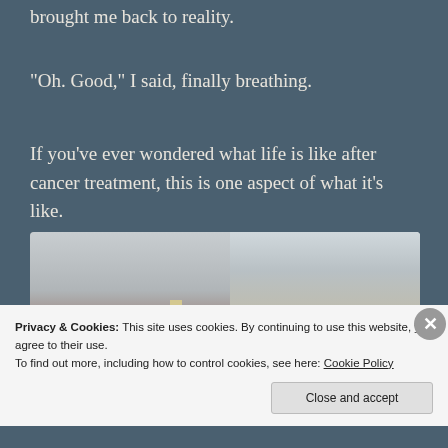brought me back to reality.
“Oh. Good,” I said, finally breathing.
If you’ve ever wondered what life is like after cancer treatment, this is one aspect of what it’s like.
[Figure (photo): Interior of a medical office or clinic waiting/exam room. Left side shows a plain wall with a light switch plate and a dark horizontal stripe near the bottom, with a brown padded chair visible. Right side shows a wooden door frame, a reception counter with cabinets, and a red sign on the wall. Ceiling has fluorescent lighting.]
Privacy & Cookies: This site uses cookies. By continuing to use this website, you agree to their use.
To find out more, including how to control cookies, see here: Cookie Policy
Close and accept